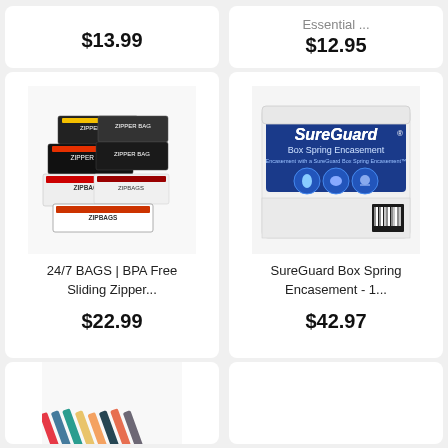$13.99
Essential ...
$12.95
[Figure (photo): Multiple boxes of 24/7 BAGS BPA Free Sliding Zipper bags, black and white packaging stacked together]
[Figure (photo): SureGuard Box Spring Encasement product in white packaging with blue label showing SureGuard branding and feature icons]
24/7 BAGS | BPA Free Sliding Zipper...
SureGuard Box Spring Encasement - 1...
$22.99
$42.97
[Figure (photo): Partial view of colorful striped items at bottom of page (cut off)]